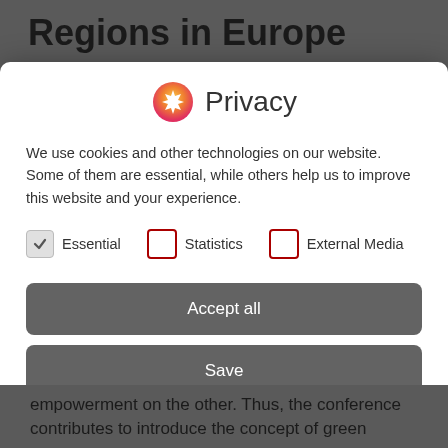Regions in Europe
[Figure (screenshot): Privacy consent modal dialog with cookie options. Contains a logo icon, 'Privacy' title, explanatory text about cookies, three checkbox options (Essential checked, Statistics unchecked, External Media unchecked), and three buttons: Accept all, Save, Decline.]
empowerment on the other. Thus, the conference contributes to introduce the concept of green